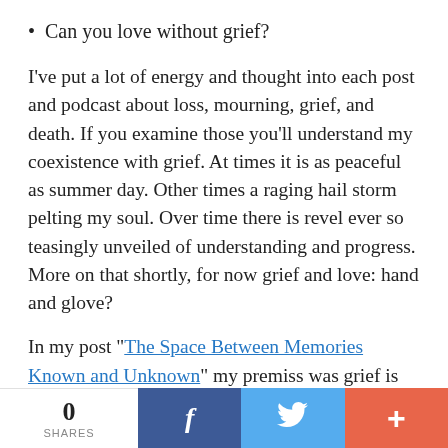Can you love without grief?
I’ve put a lot of energy and thought into each post and podcast about loss, mourning, grief, and death. If you examine those you’ll understand my coexistence with grief. At times it is as peaceful as summer day. Other times a raging hail storm pelting my soul. Over time there is revel ever so teasingly unveiled of understanding and progress. More on that shortly, for now grief and love: hand and glove?
In my post “The Space Between Memories Known and Unknown” my premiss was grief is
0 SHARES | Facebook | Twitter | +